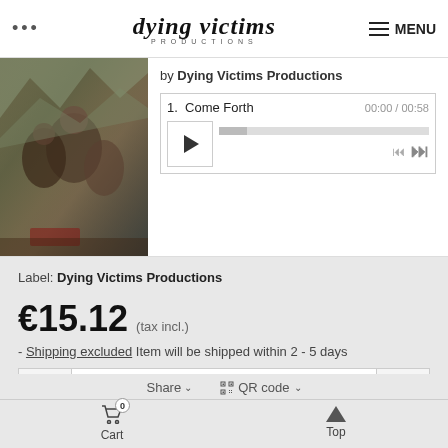... | dying victims PRODUCTIONS | MENU
[Figure (photo): Album art painting showing hooded figures in dark medieval/fantasy scene]
by Dying Victims Productions
1. Come Forth  00:00 / 00:58
Label: Dying Victims Productions
€15.12 (tax incl.)
- Shipping excluded Item will be shipped within 2 - 5 days
- 1 +
Add to cart
Share ∨  QR code ∨
Cart 0  Top